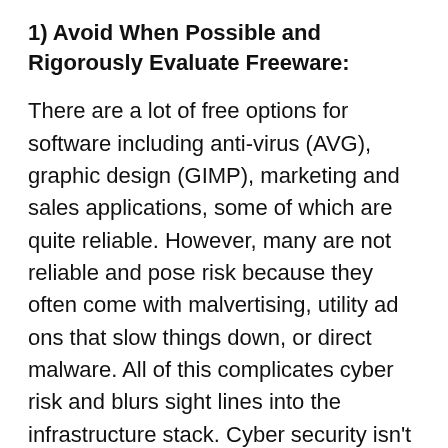1) Avoid When Possible and Rigorously Evaluate Freeware:
There are a lot of free options for software including anti-virus (AVG), graphic design (GIMP), marketing and sales applications, some of which are quite reliable. However, many are not reliable and pose risk because they often come with malvertising, utility ad ons that slow things down, or direct malware. All of this complicates cyber risk and blurs sight lines into the infrastructure stack. Cyber security isn't a good place to cut costs so pay for a good antivirus and firewall tool-set. If you are going to use a robust free graphic design tool like GIMP make sure it is documented, always updated, and that it is run in a limited area.
Bonus) Have a Sound Way To Prioritize Patching,